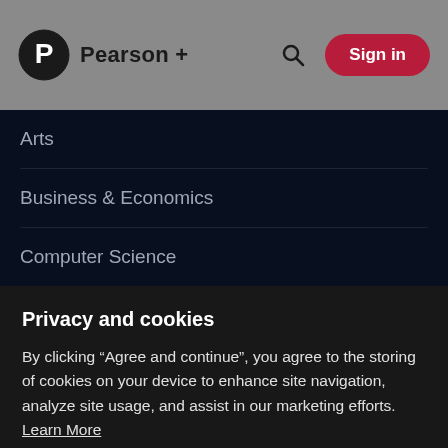Pearson+
Arts
Business & Economics
Computer Science
Privacy and cookies
By clicking “Agree and continue”, you agree to the storing of cookies on your device to enhance site navigation, analyze site usage, and assist in our marketing efforts. Learn More
Agree and Continue